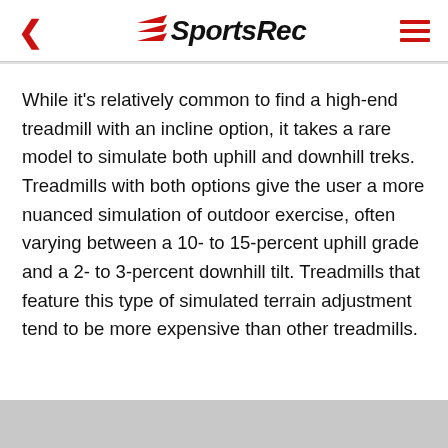SportsRec
While it's relatively common to find a high-end treadmill with an incline option, it takes a rare model to simulate both uphill and downhill treks. Treadmills with both options give the user a more nuanced simulation of outdoor exercise, often varying between a 10- to 15-percent uphill grade and a 2- to 3-percent downhill tilt. Treadmills that feature this type of simulated terrain adjustment tend to be more expensive than other treadmills.